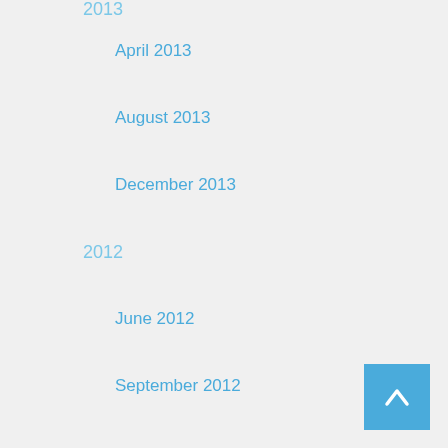2013
April 2013
August 2013
December 2013
2012
June 2012
September 2012
December 2012
March 2012
2011
March 2011
June 2011
September 2011
December 2011
2010
March 2010
June 2010